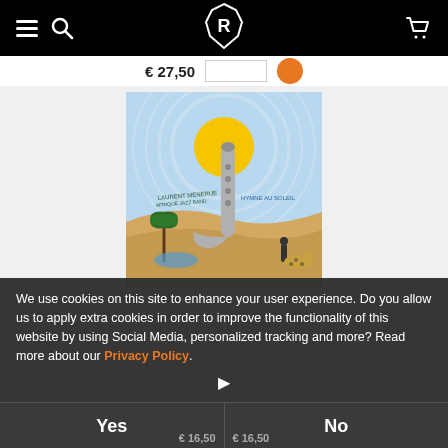Navigation bar with hamburger menu, search, logo, and cart icons
€ 27,50
[Figure (illustration): Album cover artwork for Laurent Menerue - Hymne au Soleil. Desert scene illustration with a large saxophone standing in sand dunes, palm trees with water/oasis, a person and a cheetah, and a large sun with concentric circle rays in a blue sky.]
We use cookies on this site to enhance your user experience. Do you allow us to apply extra cookies in order to improve the functionality of this website by using Social Media, personalized tracking and more? Read more about our Privacy Policy.
Yes
No